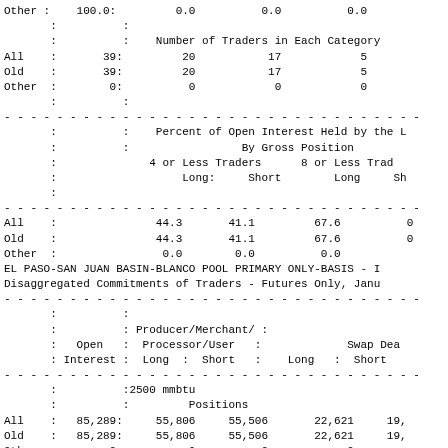| Category | Open Interest | 4 or Less Traders Long | 4 or Less Traders Short | 8 or Less Traders Long | 8 or Less Traders Short |
| --- | --- | --- | --- | --- | --- |
| Other: | 100.0: | 0.0 | 0.0 | 0.0 |  |
| : | : |  |  |  |  |
| : | : | Number of Traders in Each Category |  |  |  |
| All : | 39: | 20 | 17 | 5 |  |
| Old : | 39: | 20 | 17 | 5 |  |
| Other: | 0: | 0 | 0 | 0 |  |
| : | : |  |  |  |  |
| : |  | Percent of Open Interest Held by the Largest Traders |  |  |  |
| : |  | By Gross Position |  |  |  |
| : |  | 4 or Less Traders |  | 8 or Less Traders |  |
| : |  | Long: | Short | Long | Short |
| : |  |  |  |  |  |
| All : |  | 44.3 | 41.1 | 67.6 |  |
| Old : |  | 44.3 | 41.1 | 67.6 |  |
| Other: |  | 0.0 | 0.0 | 0.0 |  |
EL PASO-SAN JUAN BASIN-BLANCO POOL PRIMARY ONLY-BASIS - I
Disaggregated Commitments of Traders - Futures Only, Janu
| Category | Open Interest | Producer/Merchant/Processor/User Long | Producer/Merchant/Processor/User Short | Swap Dealers Long | Swap Dealers Short |
| --- | --- | --- | --- | --- | --- |
| : | : |  |  |  |  |
| : |  | Producer/Merchant/ : |  |  |  |
| : | Open : | Processor/User : |  | Swap Dea |  |
| : | Interest : | Long : Short : | Long : | Short |  |
| : |  | 2500 mmbtu |  |  |  |
| : |  | Positions |  |  |  |
| All : | 85,289: | 55,806 | 55,506 | 22,621 | 19, |
| Old : | 85,289: | 55,806 | 55,506 | 22,621 | 19, |
| Other: | 0: | 0 | 0 | 0 |  |
| : | : |  |  |  |  |
| : | : | Changes in Commitments from: |  |  |  |